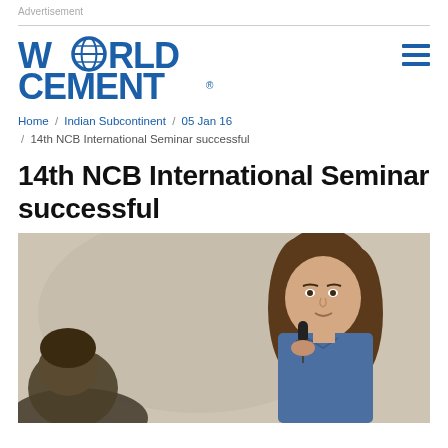Advertisement
[Figure (logo): World Cement logo in blue with globe icon replacing the O in WORLD]
Home / Indian Subcontinent / 05 Jan 16 / 14th NCB International Seminar successful
14th NCB International Seminar successful
[Figure (photo): A woman speaking into a microphone at a seminar, with another person partially visible in the foreground]